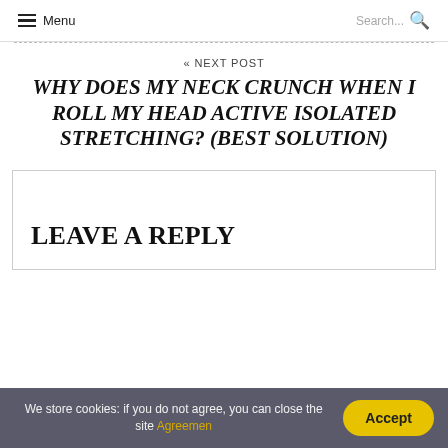Menu | Search...
« NEXT POST
WHY DOES MY NECK CRUNCH WHEN I ROLL MY HEAD ACTIVE ISOLATED STRETCHING? (BEST SOLUTION)
LEAVE A REPLY
We store cookies: if you do not agree, you can close the site Agreemen Accept